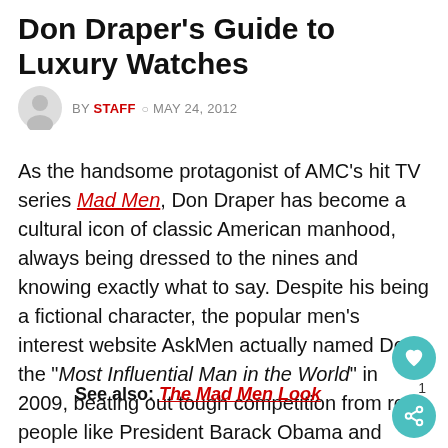Don Draper’s Guide to Luxury Watches
BY STAFF ○ MAY 24, 2012
As the handsome protagonist of AMC’s hit TV series Mad Men, Don Draper has become a cultural icon of classic American manhood, always being dressed to the nines and knowing exactly what to say. Despite his being a fictional character, the popular men’s interest website AskMen actually named Don the “Most Influential Man in the World” in 2009, beating out tough competition from real people like President Barack Obama and Facebook founder Mark Zuckerberg.
See also: The Mad Men Look